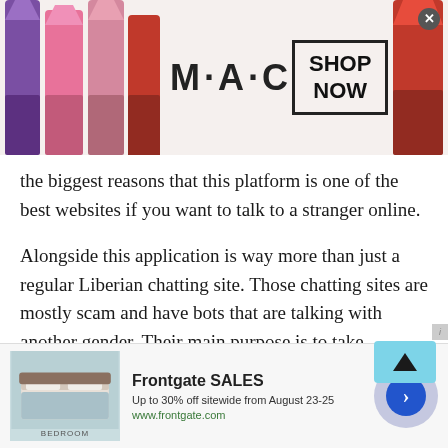[Figure (screenshot): MAC cosmetics advertisement banner with lipstick products, MAC logo, and SHOP NOW button]
the biggest reasons that this platform is one of the best websites if you want to talk to a stranger online.
Alongside this application is way more than just a regular Liberian chatting site. Those chatting sites are mostly scam and have bots that are talking with another gender. Their main purpose is to take advantage of the other people's needs and wants. These needs and wants could be both biological and
[Figure (screenshot): Frontgate SALES advertisement: Up to 30% off sitewide from August 23-25, www.frontgate.com, with bedroom image and navigation arrow]